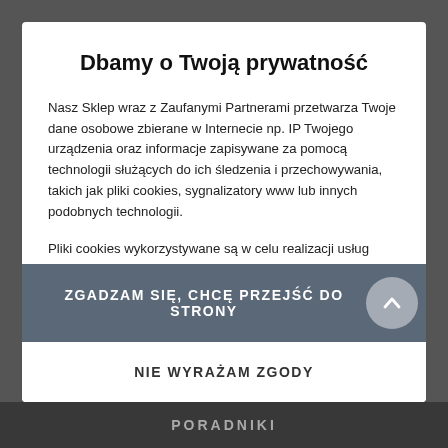Dbamy o Twoją prywatność
Nasz Sklep wraz z Zaufanymi Partnerami przetwarza Twoje dane osobowe zbierane w Internecie np. IP Twojego urządzenia oraz informacje zapisywane za pomocą technologii służących do ich śledzenia i przechowywania, takich jak pliki cookies, sygnalizatory www lub innych podobnych technologii.
Pliki cookies wykorzystywane są w celu realizacji usług zgodnie z Polityką prywatności, a także w celach analitycznych, marketingowych, oraz aby dostosować treści do Twoich preferencji i zainteresowań w tym także do wyświetlania spersonalizowanych treści (reklamowych) oraz do poprawnego działania strony internetowej. Warunki przechowywania lub dostępu do cookie możesz określić w Twojej przeglądarce
ZGADZAM SIĘ, CHCĘ PRZEJŚĆ DO STRONY
NIE WYRAŻAM ZGODY
PORADNIKI